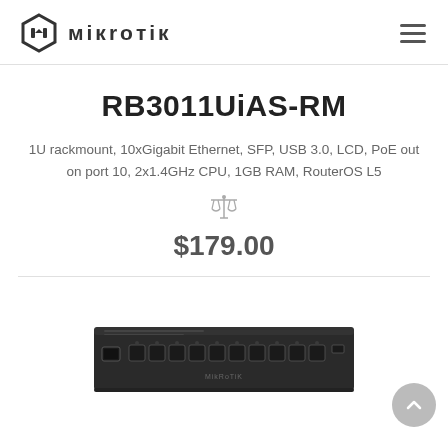MikroTik
RB3011UiAS-RM
1U rackmount, 10xGigabit Ethernet, SFP, USB 3.0, LCD, PoE out on port 10, 2x1.4GHz CPU, 1GB RAM, RouterOS L5
$179.00
[Figure (photo): MikroTik RB3011UiAS-RM router - black 1U rackmount device with multiple Ethernet ports on front panel]